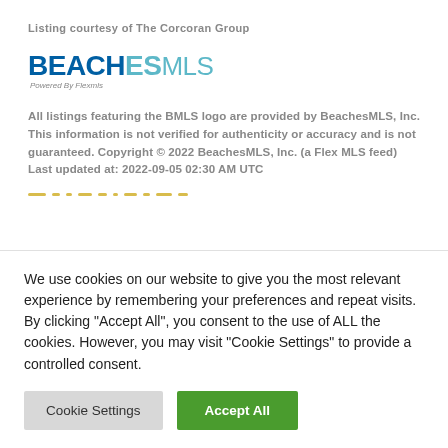Listing courtesy of The Corcoran Group
[Figure (logo): BeachesMLS logo with 'Powered By Flexmls' tagline]
All listings featuring the BMLS logo are provided by BeachesMLS, Inc. This information is not verified for authenticity or accuracy and is not guaranteed. Copyright © 2022 BeachesMLS, Inc. (a Flex MLS feed) Last updated at: 2022-09-05 02:30 AM UTC
We use cookies on our website to give you the most relevant experience by remembering your preferences and repeat visits. By clicking "Accept All", you consent to the use of ALL the cookies. However, you may visit "Cookie Settings" to provide a controlled consent.